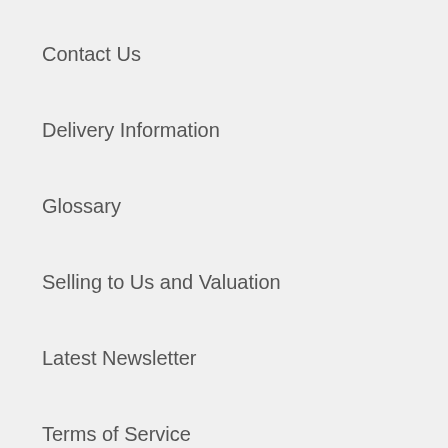Contact Us
Delivery Information
Glossary
Selling to Us and Valuation
Latest Newsletter
Terms of Service
Refund policy